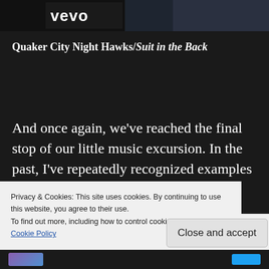[Figure (screenshot): Video thumbnail with Vevo logo on dark background]
Quaker City Night Hawks/Suit in the Back
And once again, we've reached the final stop of our little music excursion. In the past, I've repeatedly recognized examples of great music suggestions Apple Music had served up. This
Privacy & Cookies: This site uses cookies. By continuing to use this website, you agree to their use.
To find out more, including how to control cookies, see here:
Cookie Policy
Close and accept